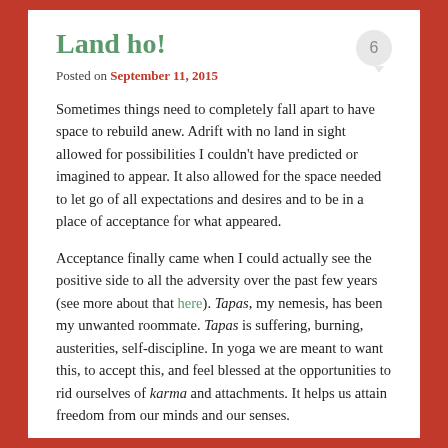Land ho!
Posted on September 11, 2015
Sometimes things need to completely fall apart to have space to rebuild anew. Adrift with no land in sight allowed for possibilities I couldn't have predicted or imagined to appear. It also allowed for the space needed to let go of all expectations and desires and to be in a place of acceptance for what appeared.
Acceptance finally came when I could actually see the positive side to all the adversity over the past few years (see more about that here). Tapas, my nemesis, has been my unwanted roommate. Tapas is suffering, burning, austerities, self-discipline. In yoga we are meant to want this, to accept this, and feel blessed at the opportunities to rid ourselves of karma and attachments. It helps us attain freedom from our minds and our senses.